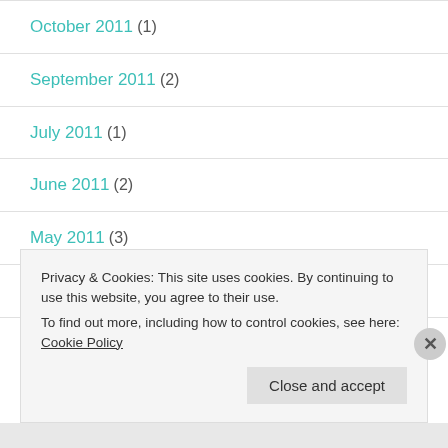October 2011 (1)
September 2011 (2)
July 2011 (1)
June 2011 (2)
May 2011 (3)
April 2011 (2)
Privacy & Cookies: This site uses cookies. By continuing to use this website, you agree to their use. To find out more, including how to control cookies, see here: Cookie Policy
Close and accept